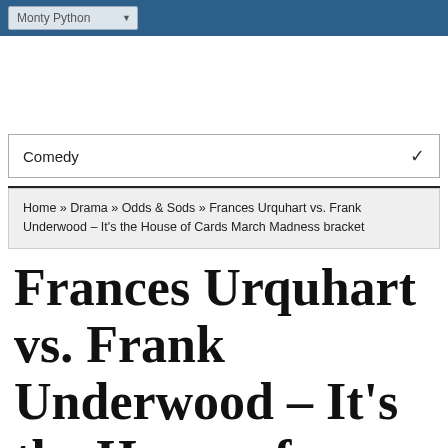Monty Python
Comedy
Home » Drama » Odds & Sods » Frances Urquhart vs. Frank Underwood – It's the House of Cards March Madness bracket
Frances Urquhart vs. Frank Underwood – It's the House of Cards March Madness bracket